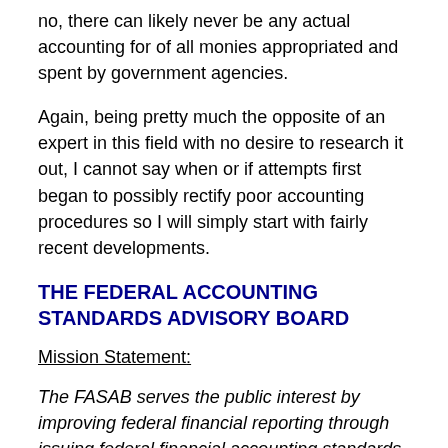no, there can likely never be any actual accounting for of all monies appropriated and spent by government agencies.
Again, being pretty much the opposite of an expert in this field with no desire to research it out, I cannot say when or if attempts first began to possibly rectify poor accounting procedures so I will simply start with fairly recent developments.
THE FEDERAL ACCOUNTING STANDARDS ADVISORY BOARD
Mission Statement:
The FASAB serves the public interest by improving federal financial reporting through issuing federal financial accounting standards and providing guidance after